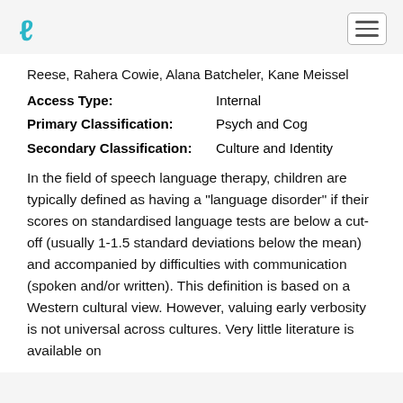[Logo] [Hamburger menu]
Reese, Rahera Cowie, Alana Batcheler, Kane Meissel
Access Type: Internal
Primary Classification: Psych and Cog
Secondary Classification: Culture and Identity
In the field of speech language therapy, children are typically defined as having a "language disorder" if their scores on standardised language tests are below a cut-off (usually 1-1.5 standard deviations below the mean) and accompanied by difficulties with communication (spoken and/or written). This definition is based on a Western cultural view. However, valuing early verbosity is not universal across cultures. Very little literature is available on